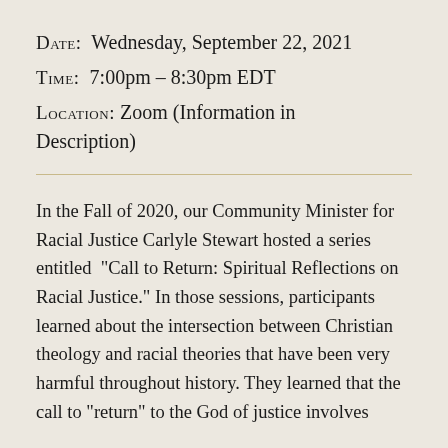DATE:  Wednesday, September 22, 2021
TIME:  7:00pm – 8:30pm EDT
LOCATION:  Zoom (Information in Description)
In the Fall of 2020, our Community Minister for Racial Justice Carlyle Stewart hosted a series entitled “Call to Return: Spiritual Reflections on Racial Justice.” In those sessions, participants learned about the intersection between Christian theology and racial theories that have been very harmful throughout history. They learned that the call to “return” to the God of justice involves